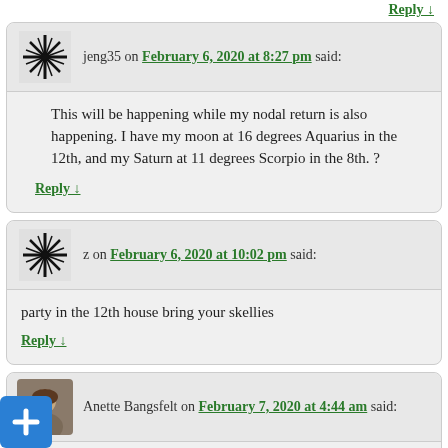Reply ↓ (top link)
jeng35 on February 6, 2020 at 8:27 pm said:
This will be happening while my nodal return is also happening. I have my moon at 16 degrees Aquarius in the 12th, and my Saturn at 11 degrees Scorpio in the 8th. ?
Reply ↓
z on February 6, 2020 at 10:02 pm said:
party in the 12th house bring your skellies
Reply ↓
Anette Bangsfelt on February 7, 2020 at 4:44 am said:
I'm on the cold turkey SoMe detox right now. I want to delete my Facebook app from my phone – but can't. WTF Samsung?!! I want to delete my FB profile as well but can't due to obligations.
I want OUT
don't want to be like the herd.
want to detach from technology, going analogue to the point of it is making sense. My hobbies are analogue most of them